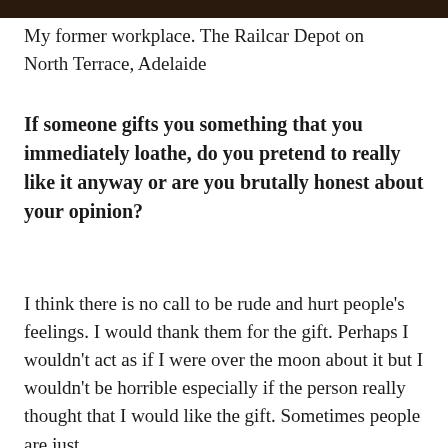[Figure (photo): Dark brown image bar at the top of the page, partial view of a photo]
My former workplace. The Railcar Depot on North Terrace, Adelaide
If someone gifts you something that you immediately loathe, do you pretend to really like it anyway or are you brutally honest about your opinion?
I think there is no call to be rude and hurt people’s feelings. I would thank them for the gift. Perhaps I wouldn’t act as if I were over the moon about it but I wouldn’t be horrible especially if the person really thought that I would like the gift. Sometimes people are just